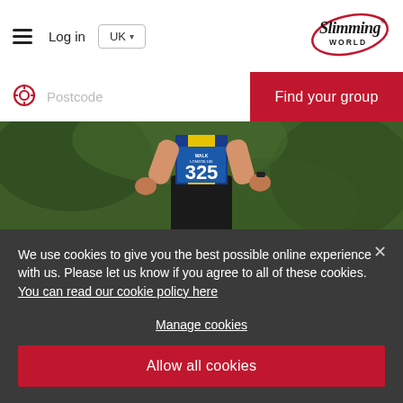[Figure (logo): Slimming World logo with red cursive script and registered trademark symbol]
Log in
UK
Postcode
Find your group
[Figure (photo): Runner wearing race number 325 at a Walk/Run London 10k event, green foliage background]
We use cookies to give you the best possible online experience with us. Please let us know if you agree to all of these cookies. You can read our cookie policy here
Manage cookies
Allow all cookies